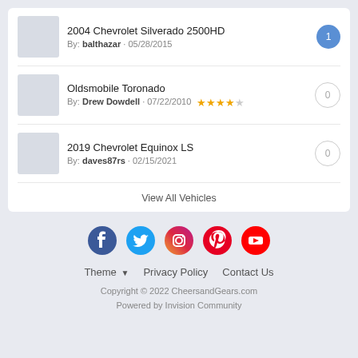2004 Chevrolet Silverado 2500HD By: balthazar · 05/28/2015, count: 1
Oldsmobile Toronado By: Drew Dowdell · 07/22/2010, rating: 3.5/5, count: 0
2019 Chevrolet Equinox LS By: daves87rs · 02/15/2021, count: 0
View All Vehicles
Facebook Twitter Instagram Pinterest YouTube | Theme ▼  Privacy Policy  Contact Us | Copyright © 2022 CheersandGears.com | Powered by Invision Community